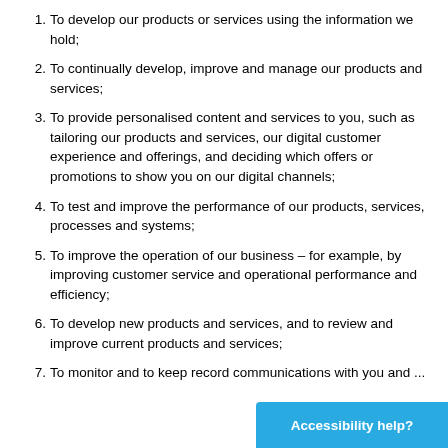To develop our products or services using the information we hold;
To continually develop, improve and manage our products and services;
To provide personalised content and services to you, such as tailoring our products and services, our digital customer experience and offerings, and deciding which offers or promotions to show you on our digital channels;
To test and improve the performance of our products, services, processes and systems;
To improve the operation of our business – for example, by improving customer service and operational performance and efficiency;
To develop new products and services, and to review and improve current products and services;
To monitor and to keep record communications with you and ...